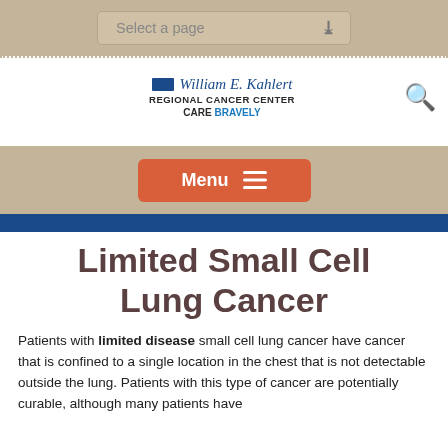Select a page
[Figure (logo): William E. Kahlert Regional Cancer Center logo with 'CARE BRAVELY' tagline]
Menu
Limited Small Cell Lung Cancer
Patients with limited disease small cell lung cancer have cancer that is confined to a single location in the chest that is not detectable outside the lung. Patients with this type of cancer are potentially curable, although many patients have